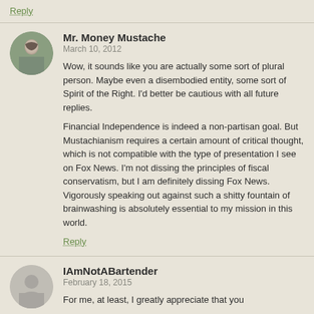Reply
Mr. Money Mustache
March 10, 2012
Wow, it sounds like you are actually some sort of plural person. Maybe even a disembodied entity, some sort of Spirit of the Right. I'd better be cautious with all future replies.
Financial Independence is indeed a non-partisan goal. But Mustachianism requires a certain amount of critical thought, which is not compatible with the type of presentation I see on Fox News. I'm not dissing the principles of fiscal conservatism, but I am definitely dissing Fox News. Vigorously speaking out against such a shitty fountain of brainwashing is absolutely essential to my mission in this world.
Reply
IAmNotABartender
February 18, 2015
For me, at least, I greatly appreciate that you